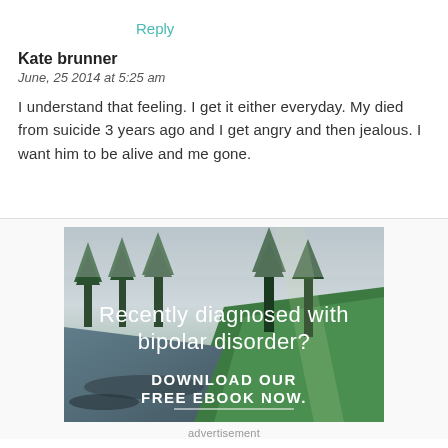Reply
Kate brunner
June, 25 2014 at 5:25 am
I understand that feeling. I get it either everyday. My died from suicide 3 years ago and I get angry and then jealous. I want him to be alive and me gone.
[Figure (photo): Advertisement image showing a forest and river landscape with text 'Recently diagnosed with bipolar disorder? DOWNLOAD OUR FREE EBOOK NOW.']
advertisement